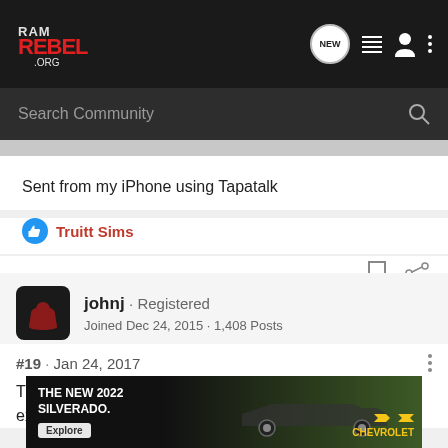RAM REBEL .ORG — Navigation bar with logo, NEW button, list icon, user icon, more options
Search Community
Sent from my iPhone using Tapatalk
Truitt Sims
johnj · Registered
Joined Dec 24, 2015 · 1,408 Posts
#19 · Jan 24, 2017
The drawback is that it's not a true "lift." You are merely extending their limits. S ost
[Figure (screenshot): Chevrolet Silverado 2022 advertisement banner at bottom]